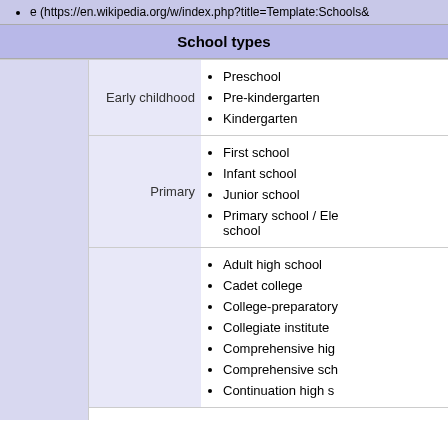e (https://en.wikipedia.org/w/index.php?title=Template:Schools&
School types
|  | Category | School types |
| --- | --- | --- |
|  | Early childhood | Preschool • Pre-kindergarten • Kindergarten |
|  | Primary | First school • Infant school • Junior school • Primary school / Elementary school |
|  |  | Adult high school • Cadet college • College-preparatory • Collegiate institute • Comprehensive high school • Comprehensive school • Continuation high school |